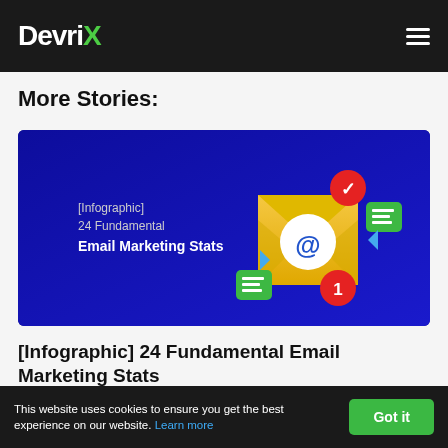DevriX
More Stories:
[Figure (illustration): Blue banner image for an infographic article. Text on left reads '[Infographic] 24 Fundamental Email Marketing Stats' in white. On the right are 3D icons: a yellow envelope with '@' symbol, a red checkmark badge, a green notification badge, and green chat/list icons.]
[Infographic] 24 Fundamental Email Marketing Stats
Email marketing is an invaluable asset to marketers everywhere, and
This website uses cookies to ensure you get the best experience on our website. Learn more